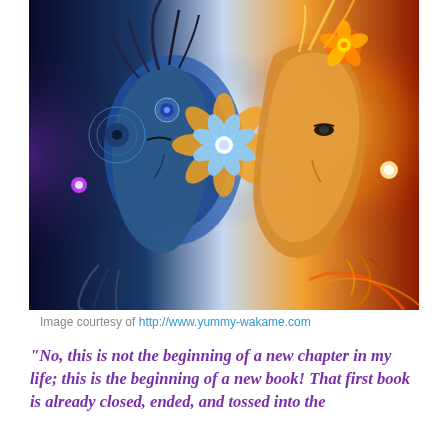[Figure (illustration): Digital art illustration showing two faces in profile facing each other — a dark blue cosmic male figure on the left with spiritual/mandala symbols and a warm golden female figure on the right with floral and feather ornaments. A glowing lotus/star mandala symbol floats between them in the center. The left side has cool blue and purple tones; the right side has warm orange and red tones.]
Image courtesy of http://www.yummy-wakame.com
“No, this is not the beginning of a new chapter in my life; this is the beginning of a new book! That first book is already closed, ended, and tossed into the